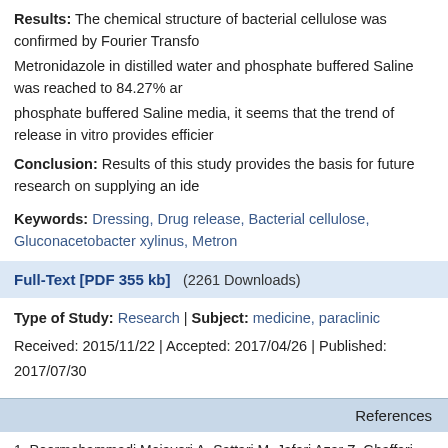Results: The chemical structure of bacterial cellulose was confirmed by Fourier Transfo… Metronidazole in distilled water and phosphate buffered Saline was reached to 84.27% a… phosphate buffered Saline media, it seems that the trend of release in vitro provides efficie…
Conclusion: Results of this study provides the basis for future research on supplying an ide…
Keywords: Dressing, Drug release, Bacterial cellulose, Gluconacetobacter xylinus, Metron…
Full-Text [PDF 355 kb]   (2261 Downloads)
Type of Study: Research | Subject: medicine, paraclinic
Received: 2015/11/22 | Accepted: 2017/04/26 | Published: 2017/07/30
References
1. Poormohammadi Mojaveri A, Sattari M, Jafari Azar Z, Ghaffari AR, Ariapanah P. E… synthesized by acetobacter xylinum in absorption and release of tetracycline hydrochlo… Persian]
2. Lin WC, Lien CC, Yeh HJ, Yu CM, Hsu SH. Bacterial cellulose and bacterial cel… applications. Carbohydrate Polymers 2013; 94(1): 603-11.